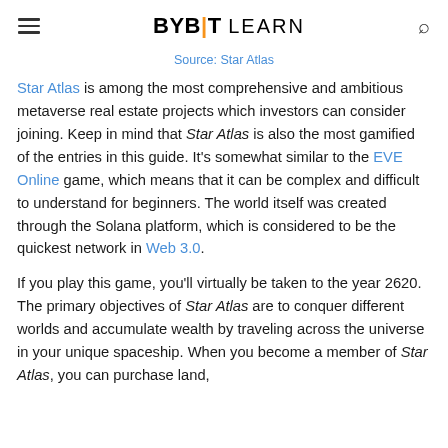BYBIT LEARN
Source: Star Atlas
Star Atlas is among the most comprehensive and ambitious metaverse real estate projects which investors can consider joining. Keep in mind that Star Atlas is also the most gamified of the entries in this guide. It’s somewhat similar to the EVE Online game, which means that it can be complex and difficult to understand for beginners. The world itself was created through the Solana platform, which is considered to be the quickest network in Web 3.0.
If you play this game, you’ll virtually be taken to the year 2620. The primary objectives of Star Atlas are to conquer different worlds and accumulate wealth by traveling across the universe in your unique spaceship. When you become a member of Star Atlas, you can purchase land,